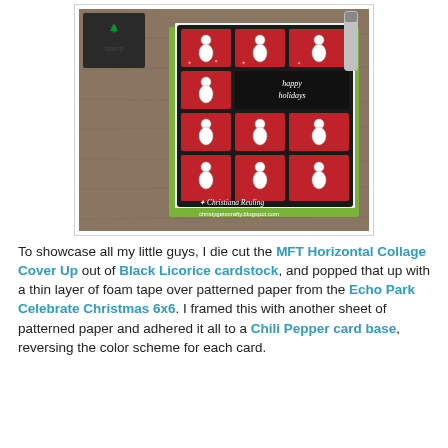[Figure (photo): A Christmas greeting card featuring a black collage cover-up die cut with multiple red patterned paper panels showing snowman stamps. The center panel reads 'happy holidays' in white script. The card is mounted on a green card base, photographed on a burlap surface. Watermark reads '* Christiana Reuling christygetscrafty.blogspot.com'.]
To showcase all my little guys, I die cut the MFT Horizontal Collage Cover Up out of Black Licorice cardstock, and popped that up with a thin layer of foam tape over patterned paper from the Echo Park Celebrate Christmas 6x6. I framed this with another sheet of patterned paper and adhered it all to a Chili Pepper card base, reversing the color scheme for each card.